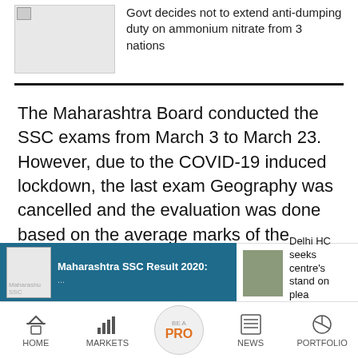Govt decides not to extend anti-dumping duty on ammonium nitrate from 3 nations
The Maharashtra Board conducted the SSC exams from March 3 to March 23. However, due to the COVID-19 induced lockdown, the last exam Geography was cancelled and the evaluation was done based on the average marks of the papers for which examination was conducted. This year over 17 lakh students had
Maharashtra SSC Result 2020:
Delhi HC seeks centre's stand on plea
HOME  MARKETS  BE A PRO  NEWS  PORTFOLIO